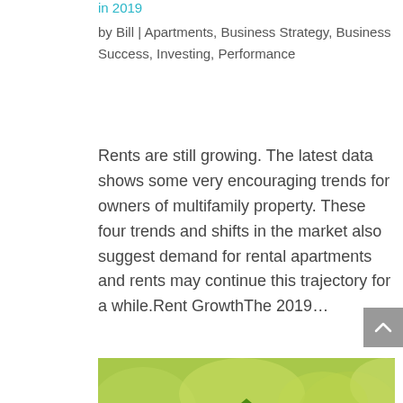in 2019
by Bill | Apartments, Business Strategy, Business Success, Investing, Performance
Rents are still growing. The latest data shows some very encouraging trends for owners of multifamily property. These four trends and shifts in the market also suggest demand for rental apartments and rents may continue this trajectory for a while.Rent GrowthThe 2019…
[Figure (photo): A green grass-covered house model against a blurred green garden background, representing real estate and multifamily property investment.]